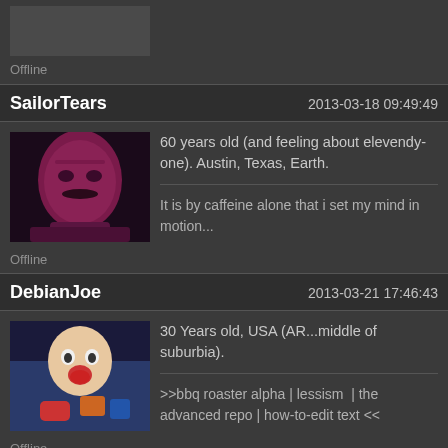[Figure (screenshot): Top partial post showing avatar placeholder and Offline label]
Offline
SailorTears  2013-03-18 09:49:49
[Figure (photo): Avatar of SailorTears: magenta-tinted photo of older man with mustache]
60 years old (and feeling about elevendy-one). Austin, Texas, Earth.
It is by caffeine alone that i set my mind in motion...
Offline
DebianJoe  2013-03-21 17:46:43
[Figure (photo): Avatar of DebianJoe: baby with colorful blanket and accessories]
30 Years old, USA (AR...middle of suburbia).
>>bbq roaster alpha | lessism  | the advanced repo | how-to-edit text <<
Offline